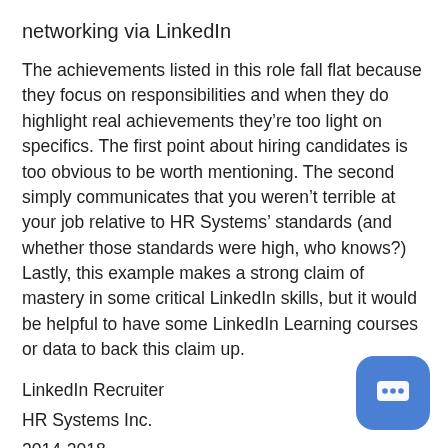networking via LinkedIn
The achievements listed in this role fall flat because they focus on responsibilities and when they do highlight real achievements they're too light on specifics. The first point about hiring candidates is too obvious to be worth mentioning. The second simply communicates that you weren't terrible at your job relative to HR Systems' standards (and whether those standards were high, who knows?) Lastly, this example makes a strong claim of mastery in some critical LinkedIn skills, but it would be helpful to have some LinkedIn Learning courses or data to back this claim up.
LinkedIn Recruiter
HR Systems Inc.
2014-2018